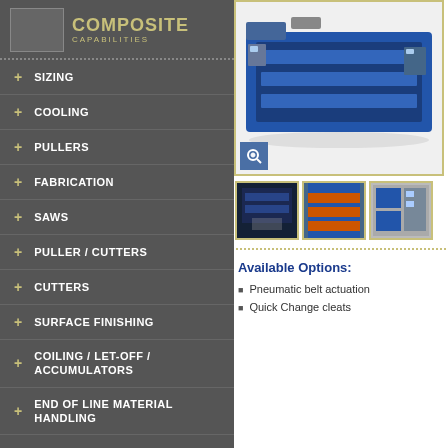COMPOSITE CAPABILITIES
SIZING
COOLING
PULLERS
FABRICATION
SAWS
PULLER / CUTTERS
CUTTERS
SURFACE FINISHING
COILING / LET-OFF / ACCUMULATORS
END OF LINE MATERIAL HANDLING
COMPLETE LINES
CUSTOM
[Figure (photo): Blue industrial pultrusion/puller machine, large rectangular machine on white background]
[Figure (photo): Thumbnail: interior tunnel view of machine]
[Figure (photo): Thumbnail: orange and blue machine components side view]
[Figure (photo): Thumbnail: control panel or machine end view]
Available Options:
Pneumatic belt actuation
Quick Change cleats